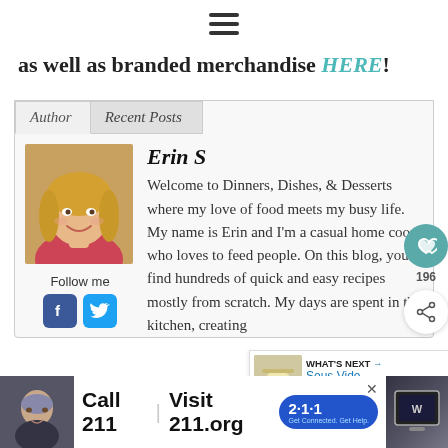[Figure (other): Hamburger/menu icon (three horizontal lines) centered at top]
as well as branded merchandise HERE!
Author | Recent Posts tabs
[Figure (photo): Headshot of Erin S, woman with blonde hair, smiling]
Follow me
[Figure (other): Facebook and Twitter social media icon buttons]
Erin S
Welcome to Dinners, Dishes, & Desserts where my love of food meets my busy life. My name is Erin and I'm a casual home coo who loves to feed people. On this blog, you'll find hundreds of quick and easy recipes mostly from scratch. My days are spent in the kitchen, creating
[Figure (other): Heart/like button overlay showing 196 count, and a share button]
[Figure (other): What's Next widget: Sous Vide Pork Loin with small food image]
[Figure (other): Advertisement banner: Call 211 | Visit 211.org with 2-1-1 logo, man photo on left, news channel logo on right]